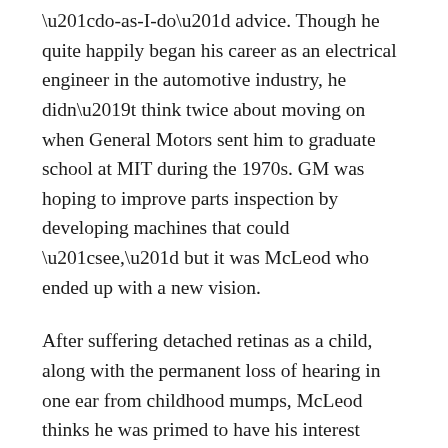“do-as-I-do” advice. Though he quite happily began his career as an electrical engineer in the automotive industry, he didn’t think twice about moving on when General Motors sent him to graduate school at MIT during the 1970s. GM was hoping to improve parts inspection by developing machines that could “see,” but it was McLeod who ended up with a new vision.
After suffering detached retinas as a child, along with the permanent loss of hearing in one ear from childhood mumps, McLeod thinks he was primed to have his interest piqued by the study of human physiology at MIT.
“At the time, the thinking was that in order to learn how to make machines that could ‘see,’ you’d have to study the human visual system. That philosophy has changed since then. But as it